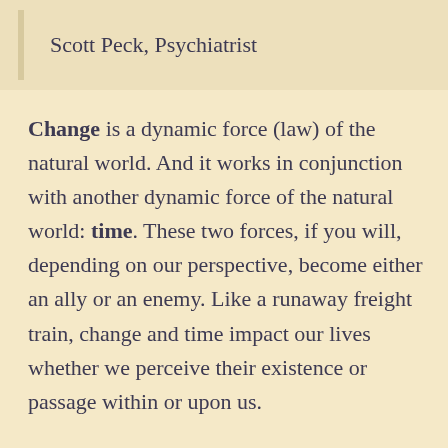Scott Peck, Psychiatrist
Change is a dynamic force (law) of the natural world. And it works in conjunction with another dynamic force of the natural world: time. These two forces, if you will, depending on our perspective, become either an ally or an enemy. Like a runaway freight train, change and time impact our lives whether we perceive their existence or passage within or upon us.